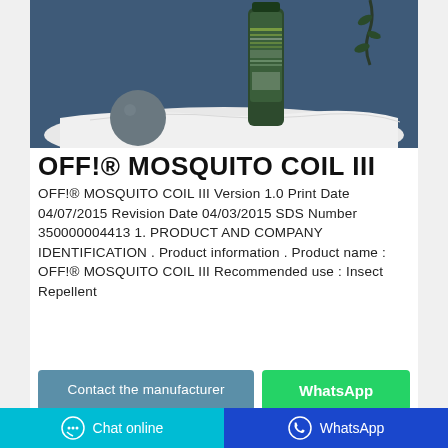[Figure (photo): Product photo of OFF! Mosquito Coil III spray can on white cloth against dark blue background]
OFF!® MOSQUITO COIL III
OFF!® MOSQUITO COIL III Version 1.0 Print Date 04/07/2015 Revision Date 04/03/2015 SDS Number 350000004413 1. PRODUCT AND COMPANY IDENTIFICATION . Product information . Product name : OFF!® MOSQUITO COIL III Recommended use : Insect Repellent
Contact the manufacturer
WhatsApp
Chat online    WhatsApp